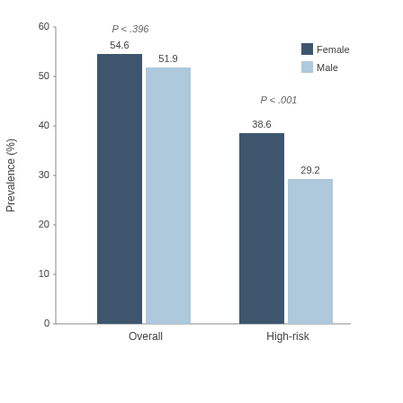[Figure (grouped-bar-chart): ]